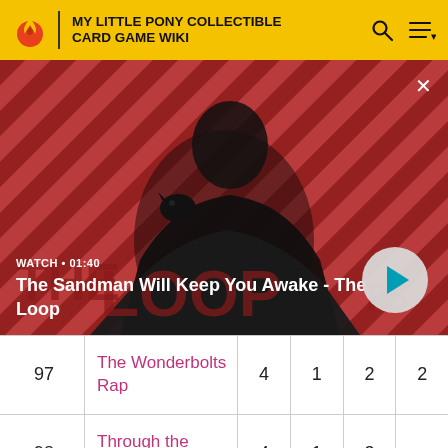MY LITTLE PONY COLLECTIBLE CARD GAME WIKI
[Figure (screenshot): Video thumbnail showing a dark-clothed figure with a raven on their shoulder against a red and black diagonal stripe background. Text overlay reads: WATCH • 01:40 / The Sandman Will Keep You Awake - The Loop. Play button visible bottom right.]
| 97 | The Wonderbolts Rap | 4 | 1 | 2 | 2 |
| 98 | Through the Ages | 4 | 1 | 3 |  |